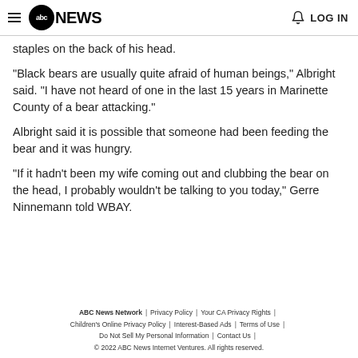abc NEWS | LOG IN
staples on the back of his head.
"Black bears are usually quite afraid of human beings," Albright said. "I have not heard of one in the last 15 years in Marinette County of a bear attacking."
Albright said it is possible that someone had been feeding the bear and it was hungry.
"If it hadn't been my wife coming out and clubbing the bear on the head, I probably wouldn't be talking to you today," Gerre Ninnemann told WBAY.
ABC News Network | Privacy Policy | Your CA Privacy Rights | Children's Online Privacy Policy | Interest-Based Ads | Terms of Use | Do Not Sell My Personal Information | Contact Us | © 2022 ABC News Internet Ventures. All rights reserved.